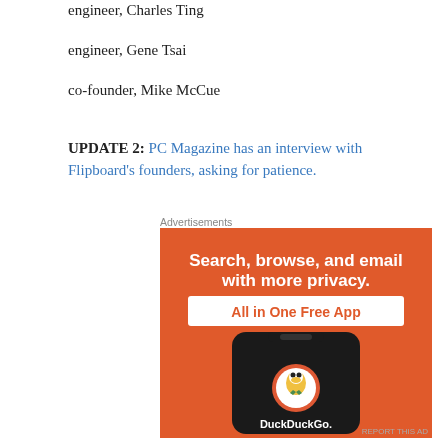engineer, Charles Ting
engineer, Gene Tsai
co-founder, Mike McCue
UPDATE 2: PC Magazine has an interview with Flipboard's founders, asking for patience.
Advertisements
[Figure (photo): DuckDuckGo advertisement: orange background with a smartphone showing DuckDuckGo logo. Text reads 'Search, browse, and email with more privacy. All in One Free App'. DuckDuckGo mascot duck visible on phone screen.]